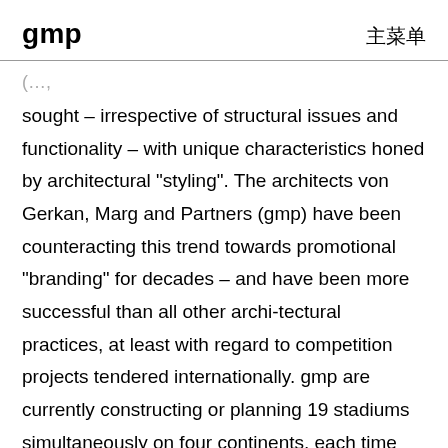gmp 主菜单
sought – irrespective of structural issues and functionality – with unique characteristics honed by architectural "styling". The architects von Gerkan, Marg and Partners (gmp) have been counteracting this trend towards promotional "branding" for decades – and have been more successful than all other archi-tectural practices, at least with regard to competition projects tendered internationally. gmp are currently constructing or planning 19 stadiums simultaneously on four continents, each time starting from scratch to achieve the "optimum shape and structure" on the one hand, and to create a characteristic identity within the cultural context of each specific site on the other.